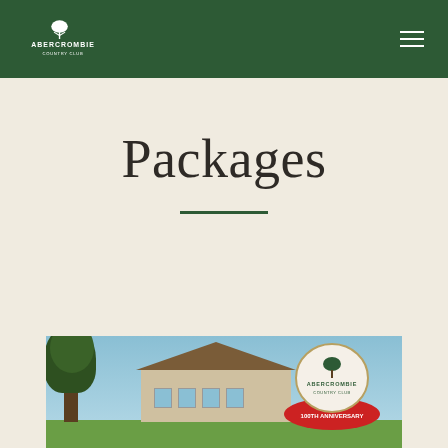Abercrombie Country Club
Packages
[Figure (photo): Exterior photograph of Abercrombie Country Club building with a large tree on the left, blue sky background, and Abercrombie Country Club 100th Anniversary logo overlay on the right]